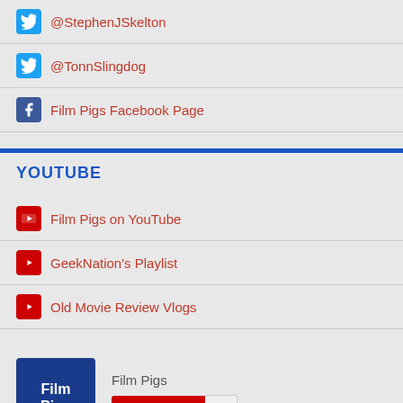@StephenJSkelton
@TonnSlingdog
Film Pigs Facebook Page
YOUTUBE
Film Pigs on YouTube
GeekNation's Playlist
Old Movie Review Vlogs
[Figure (other): Film Pigs YouTube subscription widget showing logo, channel name 'Film Pigs', and YouTube subscribe button with count 56]